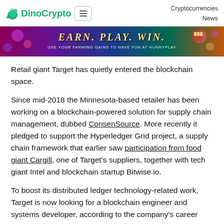DinoCrypto  Cryptocurrencies  News
[Figure (photo): Casino/gaming themed banner advertisement with text 'EARN. PLAY. WIN' and subtext 'USE YOUR FARMING GAINS TO HAVE FUN AT HUNNYPLAY']
Retail giant Target has quietly entered the blockchain space.
Since mid-2018 the Minnesota-based retailer has been working on a blockchain-powered solution for supply chain management, dubbed ConsenSource. More recently it pledged to support the Hyperledger Grid project, a supply chain framework that earlier saw participation from food giant Cargill, one of Target's suppliers, together with tech giant Intel and blockchain startup Bitwise.io.
To boost its distributed ledger technology-related work, Target is now looking for a blockchain engineer and systems developer, according to the company's career page.
The new engineer will be contributing to the recently open-sourced ConsenSource and to Hyperledger Grid, developing